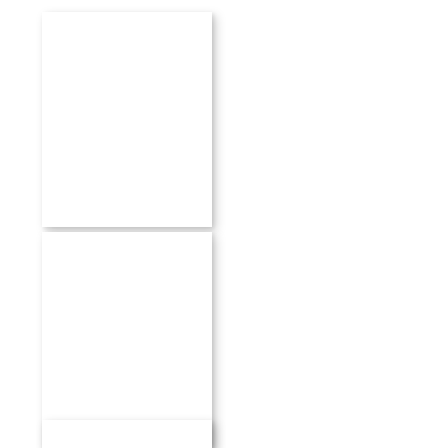[Figure (illustration): White rectangular thumbnail with drop shadow representing Third version document preview]
Third version
[Figure (illustration): White rectangular thumbnail with drop shadow representing Fourth version document preview]
Fourth version
[Figure (illustration): White rectangular thumbnail with drop shadow partially visible at bottom of page, representing another version document preview]